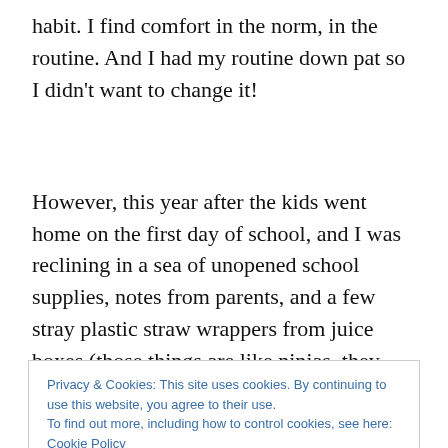habit. I find comfort in the norm, in the routine. And I had my routine down pat so I didn't want to change it!
However, this year after the kids went home on the first day of school, and I was reclining in a sea of unopened school supplies, notes from parents, and a few stray plastic straw wrappers from juice boxes (those things are like ninjas–they stick to everything and resist brooms at all
Privacy & Cookies: This site uses cookies. By continuing to use this website, you agree to their use.
To find out more, including how to control cookies, see here: Cookie Policy
Close and accept
up the third or fourth day either. Once or twice, my mouth